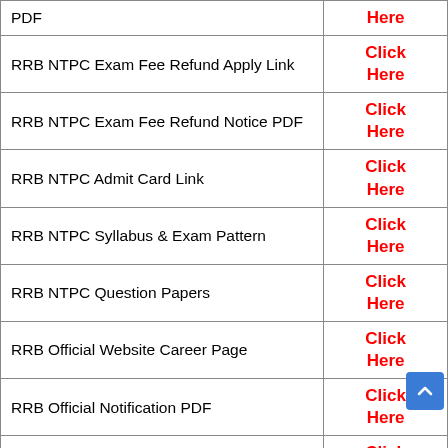|  |  |
| --- | --- |
| PDF | Click Here |
| RRB NTPC Exam Fee Refund Apply Link | Click Here |
| RRB NTPC Exam Fee Refund Notice PDF | Click Here |
| RRB NTPC Admit Card Link | Click Here |
| RRB NTPC Syllabus & Exam Pattern | Click Here |
| RRB NTPC Question Papers | Click Here |
| RRB Official Website Career Page | Click Here |
| RRB Official Notification PDF | Click Here |
| RRB Online Application Form | Click Here |